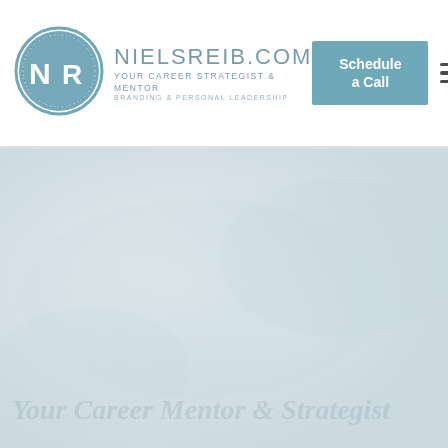[Figure (logo): NielsReib.com logo: circular badge with NR initials in teal/blue, alongside site name NIELSREIB.COM, tagline YOUR CAREER STRATEGIST & MENTOR, BRANDING & PERSONAL LEADERSHIP]
NIELSREIB.COM
YOUR CAREER STRATEGIST & MENTOR
BRANDING & PERSONAL LEADERSHIP
Schedule a Call
[Figure (photo): Large hero image area with faint textured light blue-grey background and faint watermark italic text reading 'Your Career Mentor & Strategist']